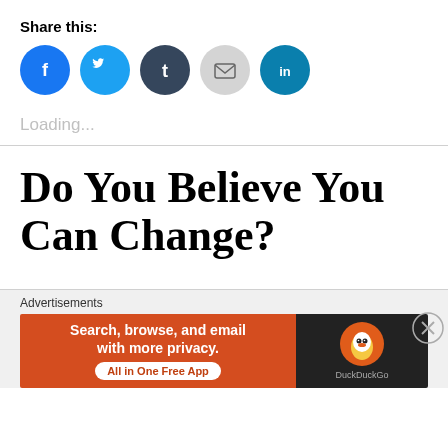Share this:
[Figure (infographic): Row of five circular social share buttons: Facebook (blue), Twitter (light blue), Tumblr (dark navy), Email (light gray), LinkedIn (teal)]
Loading...
Do You Believe You Can Change?
Advertisements
[Figure (infographic): DuckDuckGo advertisement banner: orange left side with text 'Search, browse, and email with more privacy. All in One Free App' and dark right side with DuckDuckGo duck logo and brand name]